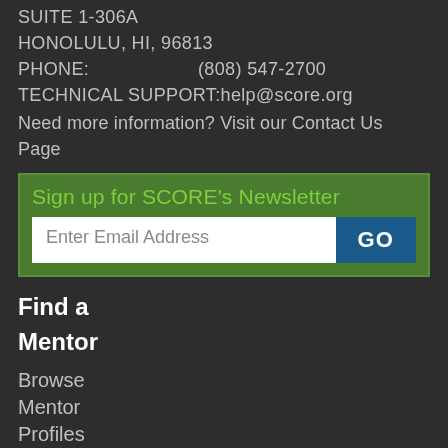SUITE 1-306A
HONOLULU, HI, 96813
PHONE:                    (808) 547-2700
TECHNICAL SUPPORT:help@score.org
Need more information? Visit our Contact Us Page
Sign up for SCORE's Newsletter
Enter Email Address
Find a
Mentor
Browse
Mentor
Profiles
Request
a